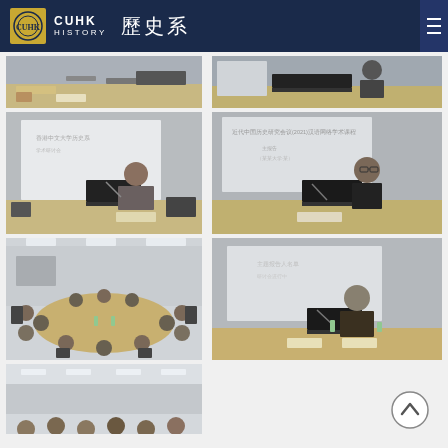CUHK HISTORY 歷史系
[Figure (photo): Partial view of academic conference room with presenter at table, name placard visible]
[Figure (photo): Partial view of conference room with speaker at table, laptop visible]
[Figure (photo): Academic presenter standing at front of room with projection screen, laptop on table]
[Figure (photo): Academic presenter seated at table with projection screen showing Chinese text behind]
[Figure (photo): Wide shot of roundtable conference with many attendees seated around large table]
[Figure (photo): Speaker presenting at podium/table with projection screen showing Chinese text]
[Figure (photo): Partial view of conference hall with attendees]